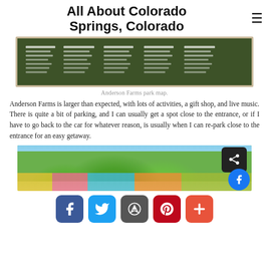All About Colorado Springs, Colorado
[Figure (photo): Anderson Farms park map sign — a green board with white text columns listing park areas, partially framed by wooden borders]
Anderson Farms park map.
Anderson Farms is larger than expected, with lots of activities, a gift shop, and live music. There is quite a bit of parking, and I can usually get a spot close to the entrance, or if I have to go back to the car for whatever reason, is usually when I can re-park close to the entrance for an easy getaway.
[Figure (photo): Photo of Anderson Farms showing colorful attractions among green trees against a blue sky, with a share button overlay and a Facebook circle button]
[Figure (infographic): Social sharing bottom bar with Facebook, Twitter, email, Pinterest, and plus buttons]